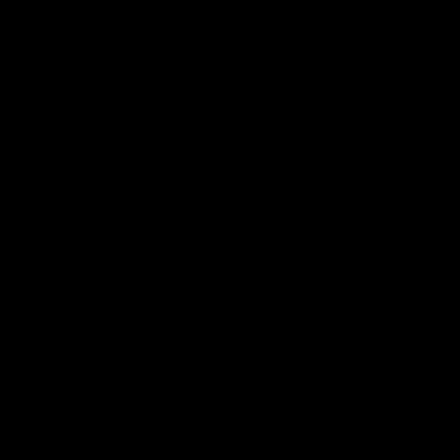he's had 100 formations in his fields since 1990, five this year alone.

Asked if he thinks they're a hoax, Carson replied: "These big ones are just too perfect. And they appear overnight. I had two hoaxers in one of my fields one year who took 12 hours in daylight over two days to make the shape of a car for Mitsubishi. It